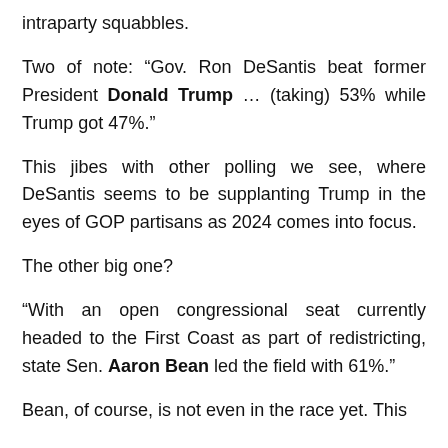intraparty squabbles.
Two of note: “Gov. Ron DeSantis beat former President Donald Trump … (taking) 53% while Trump got 47%.”
This jibes with other polling we see, where DeSantis seems to be supplanting Trump in the eyes of GOP partisans as 2024 comes into focus.
The other big one?
“With an open congressional seat currently headed to the First Coast as part of redistricting, state Sen. Aaron Bean led the field with 61%.”
Bean, of course, is not even in the race yet. This